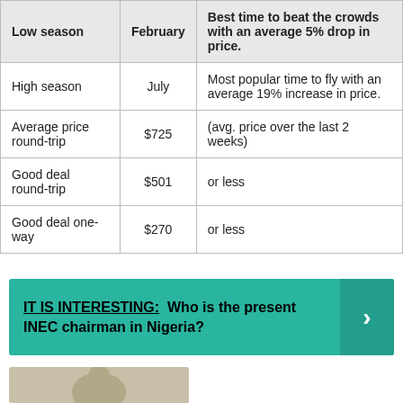| Low season | February | Best time to beat the crowds with an average 5% drop in price. |
| High season | July | Most popular time to fly with an average 19% increase in price. |
| Average price round-trip | $725 | (avg. price over the last 2 weeks) |
| Good deal round-trip | $501 | or less |
| Good deal one-way | $270 | or less |
IT IS INTERESTING: Who is the present INEC chairman in Nigeria?
[Figure (photo): Partial photo of a person at the bottom of the page]